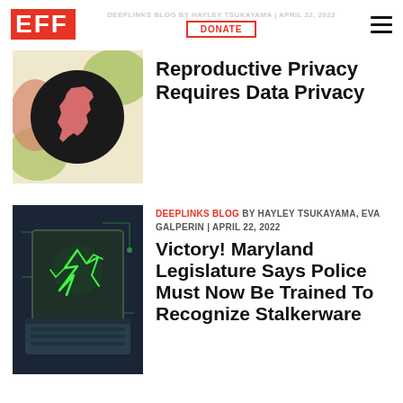EFF — DONATE — DEEPLINKS BLOG BY HAYLEY TSUKAYAMA | APRIL 22, 2022
[Figure (illustration): California state silhouette in pink/salmon color on a dark circular background, surrounded by abstract colorful shapes on a light background]
Reproductive Privacy Requires Data Privacy
[Figure (illustration): Dark green laptop computer with cracked screen showing green lightning/cracks, on a circuit board background]
DEEPLINKS BLOG BY HAYLEY TSUKAYAMA, EVA GALPERIN | APRIL 22, 2022
Victory! Maryland Legislature Says Police Must Now Be Trained To Recognize Stalkerware